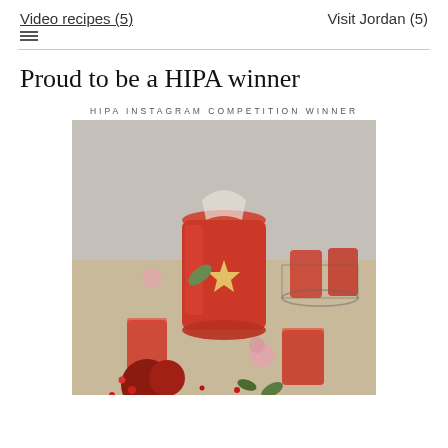Video recipes (5)    Visit Jordan (5)
Proud to be a HIPA winner
HIPA INSTAGRAM COMPETITION WINNER
[Figure (photo): Food photography showing pomegranate juice in a glass pitcher and glasses, surrounded by pomegranate fruits and pink flowers on a wooden surface. HIPA Instagram Competition winner photo.]